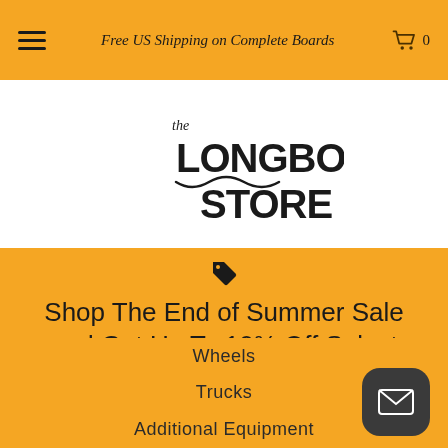Free US Shipping on Complete Boards
[Figure (logo): The Longboard Store logo — handwritten-style text]
Shop The End of Summer Sale and Get Up To 10% Off Select Boards!
Wheels
Trucks
Additional Equipment